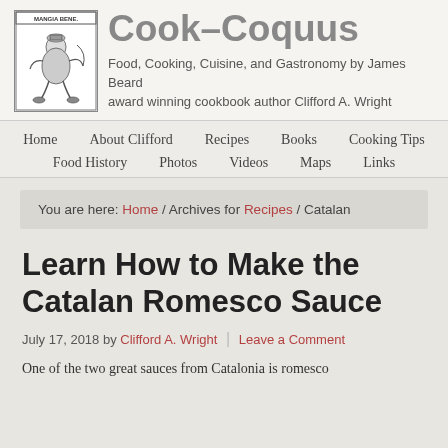[Figure (illustration): Mangia Bene logo illustration: a figure seated, wearing a hat, with text 'MANGIA BENE' at the top]
Cook–Coquus
Food, Cooking, Cuisine, and Gastronomy by James Beard award winning cookbook author Clifford A. Wright
Home
About Clifford
Recipes
Books
Cooking Tips
Food History
Photos
Videos
Maps
Links
You are here: Home / Archives for Recipes / Catalan
Learn How to Make the Catalan Romesco Sauce
July 17, 2018 by Clifford A. Wright | Leave a Comment
One of the two great sauces from Catalonia is romesco